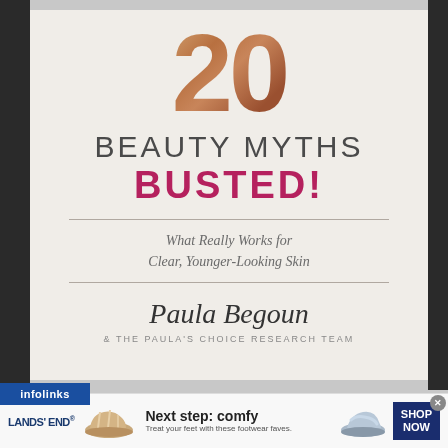[Figure (illustration): Book cover for '20 Beauty Myths Busted!' by Paula Begoun and The Paula's Choice Research Team. Large '20' numeral in cracked bronze/copper texture at top, followed by 'BEAUTY MYTHS' in dark gray uppercase letters and 'BUSTED!' in bold magenta/pink uppercase letters. A horizontal rule below, then italic subtitle 'What Really Works for Clear, Younger-Looking Skin', another horizontal rule, a handwritten-style signature 'Paula Begoun', and '& THE PAULA'S CHOICE RESEARCH TEAM' in small uppercase gray text.]
[Figure (infographic): Infolinks blue banner at bottom left of book photo area]
[Figure (infographic): Lands' End advertisement banner showing two sandal shoes, headline 'Next step: comfy', subtext 'Treat your feet with these footwear faves.', and a dark blue 'SHOP NOW' button on the right.]